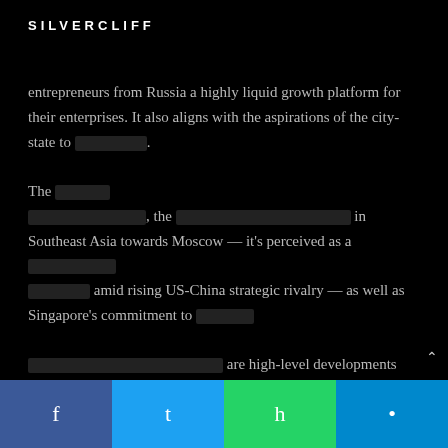SILVERCLIFF
entrepreneurs from Russia a highly liquid growth platform for their enterprises. It also aligns with the aspirations of the city-state to [redacted]. The [redacted], the [redacted] in Southeast Asia towards Moscow — it's perceived as a [redacted] amid rising US-China strategic rivalry — as well as Singapore's commitment to [redacted] are high-level developments that could facilitate greater economic activity with Russia and its economic sphere of influence. Relations between Singapore and Russia see strong bilatera
[Figure (infographic): Social media share buttons: Facebook, Twitter, WhatsApp, Telegram]